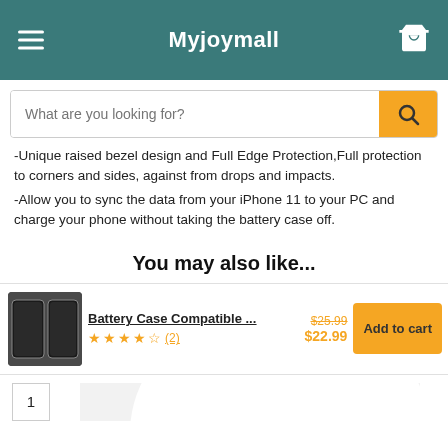Myjoymall
What are you looking for?
-Unique raised bezel design and Full Edge Protection,Full protection to corners and sides, against from drops and impacts.
-Allow you to sync the data from your iPhone 11 to your PC and charge your phone without taking the battery case off.
You may also like...
Battery Case Compatible ... $25.99 $22.99 (2) Add to cart
1